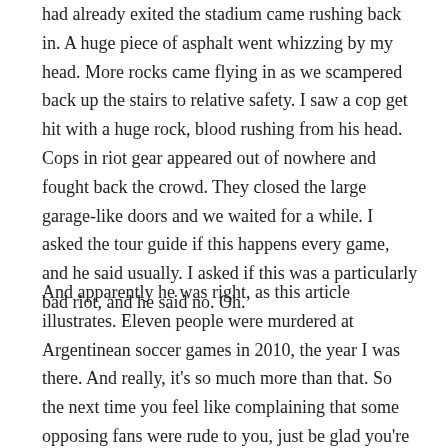had already exited the stadium came rushing back in. A huge piece of asphalt went whizzing by my head. More rocks came flying in as we scampered back up the stairs to relative safety. I saw a cop get hit with a huge rock, blood rushing from his head. Cops in riot gear appeared out of nowhere and fought back the crowd. They closed the large garage-like doors and we waited for a while. I asked the tour guide if this happens every game, and he said usually. I asked if this was a particularly bad riot, and he said no. Oh.
And apparently he was right, as this article illustrates. Eleven people were murdered at Argentinean soccer games in 2010, the year I was there. And really, it's so much more than that. So the next time you feel like complaining that some opposing fans were rude to you, just be glad you're not an Argentinean soccer fan – where